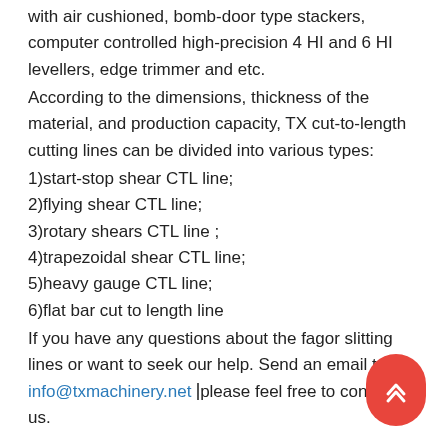with air cushioned, bomb-door type stackers, computer controlled high-precision 4 HI and 6 HI levellers, edge trimmer and etc.
According to the dimensions, thickness of the material, and production capacity, TX cut-to-length cutting lines can be divided into various types:
1)start-stop shear CTL line;
2)flying shear CTL line;
3)rotary shears CTL line ;
4)trapezoidal shear CTL line;
5)heavy gauge CTL line;
6)flat bar cut to length line
If you have any questions about the fagor slitting lines or want to seek our help. Send an email to info@txmachinery.net please feel free to contact us.